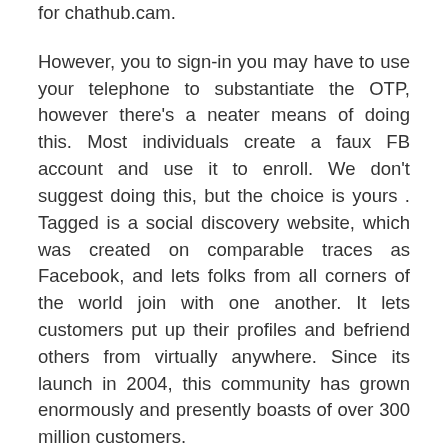for chathub.cam.
However, you to sign-in you may have to use your telephone to substantiate the OTP, however there’s a neater means of doing this. Most individuals create a faux FB account and use it to enroll. We don’t suggest doing this, but the choice is yours . Tagged is a social discovery website, which was created on comparable traces as Facebook, and lets folks from all corners of the world join with one another. It lets customers put up their profiles and befriend others from virtually anywhere. Since its launch in 2004, this community has grown enormously and presently boasts of over 300 million customers.
There are countless stranger chat app you’ll find out there right now. Nevertheless,in this publish, we cowl all reliable web sites and apps that you can chat with stranger 100 percent secure. These website embody